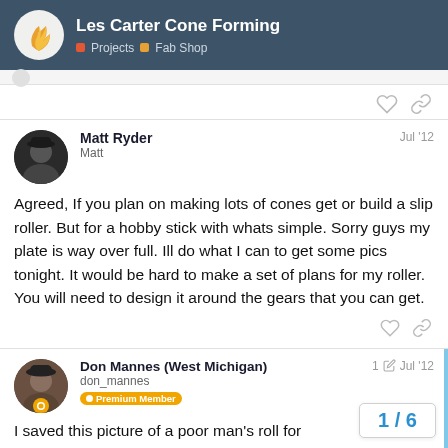Les Carter Cone Forming | Projects | Fab Shop
Matt Ryder
Matt
Jul '12
Agreed, If you plan on making lots of cones get or build a slip roller. But for a hobby stick with whats simple. Sorry guys my plate is way over full. Ill do what I can to get some pics tonight. It would be hard to make a set of plans for my roller. You will need to design it around the gears that you can get.
Don Mannes (West Michigan)
don_mannes
Premium Member
1 Jul '12
I saved this picture of a poor man's roll for